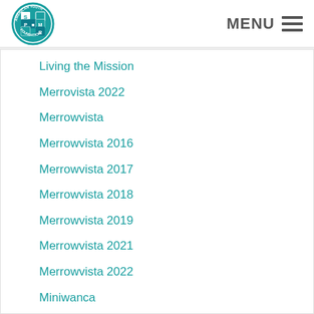American Youth Foundation | MENU
Living the Mission
Merrovista 2022
Merrowvista
Merrowvista 2016
Merrowvista 2017
Merrowvista 2018
Merrowvista 2019
Merrowvista 2021
Merrowvista 2022
Miniwanca
miniwanca 2022